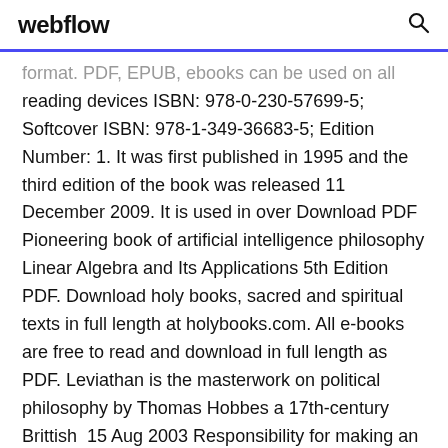webflow
format. PDF, EPUB, ebooks can be used on all reading devices ISBN: 978-0-230-57699-5; Softcover ISBN: 978-1-349-36683-5; Edition Number: 1. It was first published in 1995 and the third edition of the book was released 11 December 2009. It is used in over Download PDF Pioneering book of artificial intelligence philosophy Linear Algebra and Its Applications 5th Edition PDF. Download holy books, sacred and spiritual texts in full length at holybooks.com. All e-books are free to read and download in full length as PDF. Leviathan is the masterwork on political philosophy by Thomas Hobbes a 17th-century Brittish  15 Aug 2003 Responsibility for making an independent legal